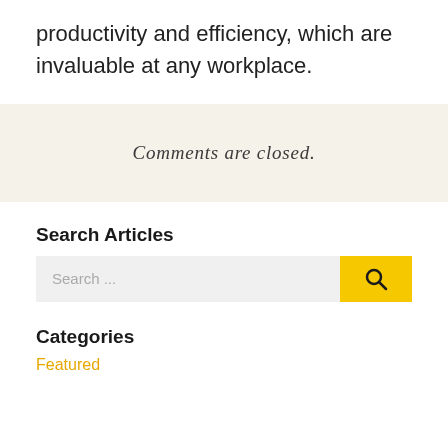productivity and efficiency, which are invaluable at any workplace.
Comments are closed.
Search Articles
Search ...
Categories
Featured